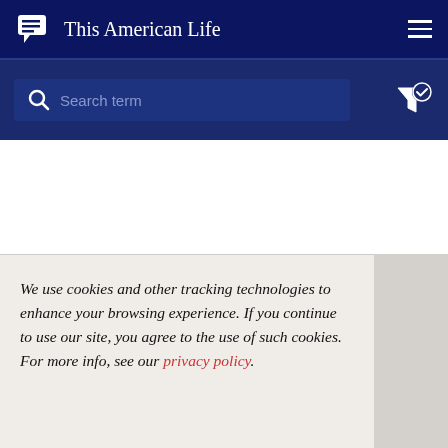This American Life
[Figure (screenshot): Search bar with magnifying glass icon and placeholder text 'Search term', and filter icon with checkmark]
We use cookies and other tracking technologies to enhance your browsing experience. If you continue to use our site, you agree to the use of such cookies. For more info, see our privacy policy.